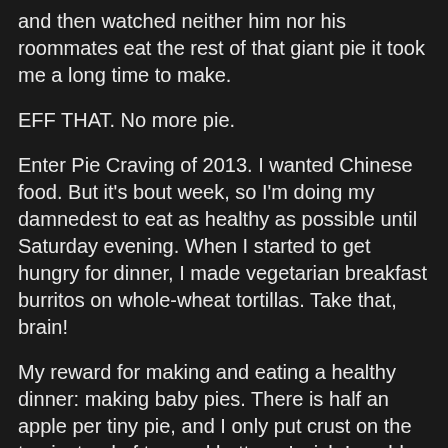and then watched neither him nor his roommates eat the rest of that giant pie it took me a long time to make.
EFF THAT. No more pie.
Enter Pie Craving of 2013. I wanted Chinese food. But it's bout week, so I'm doing my damnedest to eat as healthy as possible until Saturday evening. When I started to get hungry for dinner, I made vegetarian breakfast burritos on whole-wheat tortillas. Take that, brain!
My reward for making and eating a healthy dinner: making baby pies. There is half an apple per tiny pie, and I only put crust on the top instead of top and bottom. I wish I could pretend this is health food, but at least it's not as high-calorie as the things I've been wanting.
This was also a good excuse to try out the ramekins I bought at Crate and Barrel the day before. I've been wanting ramekins for years, but never got around to buying any. Also, that weird texture on the outside of most ramekins? I do not like. I'm so picky.